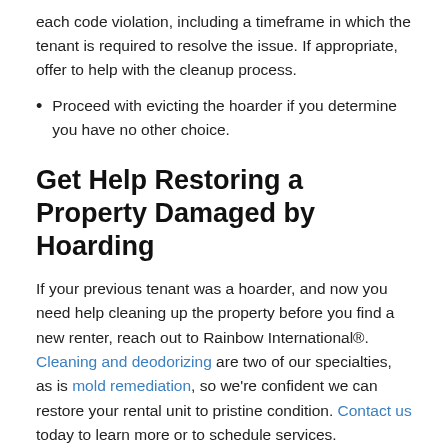each code violation, including a timeframe in which the tenant is required to resolve the issue. If appropriate, offer to help with the cleanup process.
Proceed with evicting the hoarder if you determine you have no other choice.
Get Help Restoring a Property Damaged by Hoarding
If your previous tenant was a hoarder, and now you need help cleaning up the property before you find a new renter, reach out to Rainbow International®. Cleaning and deodorizing are two of our specialties, as is mold remediation, so we're confident we can restore your rental unit to pristine condition. Contact us today to learn more or to schedule services.